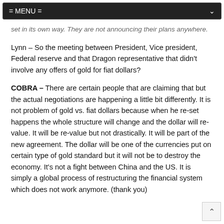= MENU =
set in its own way.  They are not announcing their plans anywhere.
Lynn – So the meeting between President, Vice president, Federal reserve and that Dragon representative that didn't involve any offers of gold for fiat dollars?
COBRA – There are certain people that are claiming that but the actual negotiations are happening a little bit differently.  It is not problem of gold vs. fiat dollars because when he re-set happens the whole structure will change and the dollar will re-value.  It will be re-value but not drastically.  It will be part of the new agreement.  The dollar will be one of the currencies put on certain type of gold standard but it will not be to destroy the economy.  It's not a fight between China and the US.  It is simply a global process of restructuring the financial system which does not work anymore.  (thank you)